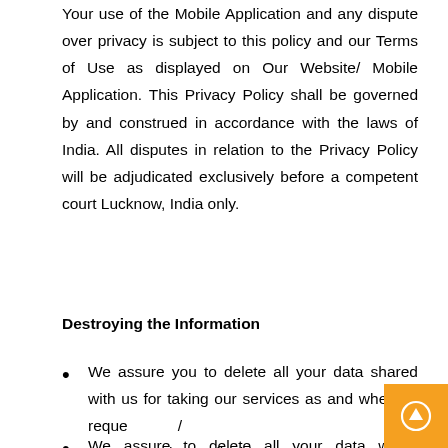Your use of the Mobile Application and any dispute over privacy is subject to this policy and our Terms of Use as displayed on Our Website/ Mobile Application. This Privacy Policy shall be governed by and construed in accordance with the laws of India. All disputes in relation to the Privacy Policy will be adjudicated exclusively before a competent court Lucknow, India only.
Destroying the Information
We assure you to delete all your data shared with us for taking our services as and when so requested by you as per the applicable Laws.
We assure to delete all your data within reasonable